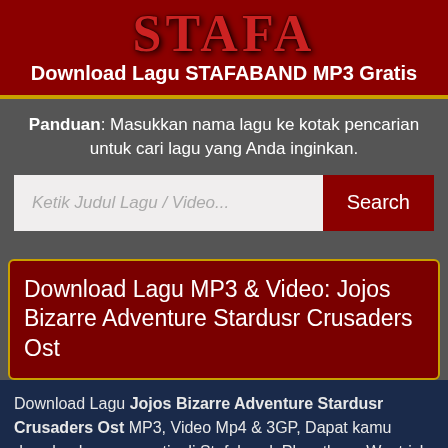[Figure (logo): STAFA logo text in red stylized font on dark red background]
Download Lagu STAFABAND MP3 Gratis
Panduan: Masukkan nama lagu ke kotak pencarian untuk cari lagu yang Anda inginkan.
[Figure (screenshot): Search bar with placeholder 'Ketik Judul Lagu / Video...' and red Search button]
Download Lagu MP3 & Video: Jojos Bizarre Adventure Stardusr Crusaders Ost
Download Lagu Jojos Bizarre Adventure Stardusr Crusaders Ost MP3, Video Mp4 & 3GP, Dapat kamu download secara gratis di Stafaband, Planetlagu, Waptrick. Detail Jojos Bizarre Adventure Stardusr Crusaders Ost MP3 dapat kamu nikmati dengan cara klik tombol Download Mp3 di bawah CEPAT dan MUDAH, dan untuk link download lagu...